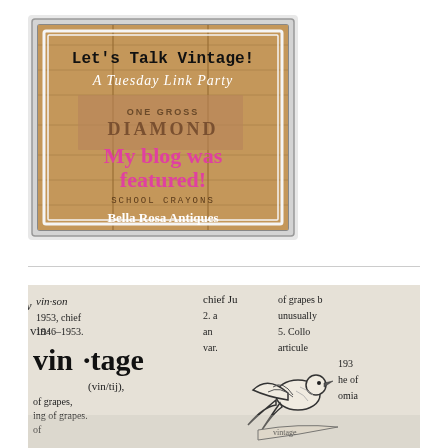[Figure (illustration): A vintage badge/button image with a wooden crate background showing 'Let's Talk Vintage! A Tuesday Link Party' at top in typewriter font and cursive. Large pink bold text reads 'My blog was featured!' Smaller text at bottom reads 'Bella Rosa Antiques'. The badge has a double border frame.]
[Figure (photo): Close-up photo of a dictionary page showing definitions related to 'vintage' and 'vinson', with large serif dictionary text. A swallow/bird tattoo illustration is overlaid on the lower right portion of the image.]